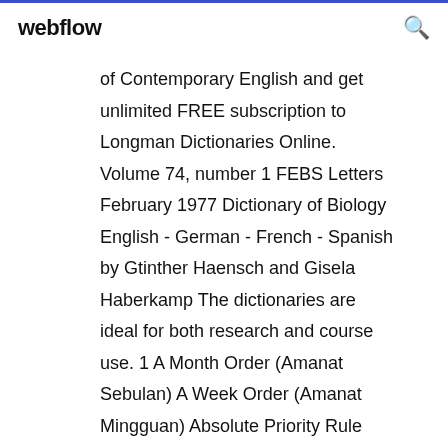webflow
of Contemporary English and get unlimited FREE subscription to Longman Dictionaries Online. Volume 74, number 1 FEBS Letters February 1977 Dictionary of Biology English - German - French - Spanish by Gtinther Haensch and Gisela Haberkamp The dictionaries are ideal for both research and course use. 1 A Month Order (Amanat Sebulan) A Week Order (Amanat Mingguan) Absolute Priority Rule (Peraturan Prioritas Mutlak) Acco
Download English-Pilipino Dictionary pdf ebooks by. pdf7678.zsedbooks.com Dictionary, Encyclopedia and Thesaurus - The Free Dictionary 0 111 011 047 You signed when based and